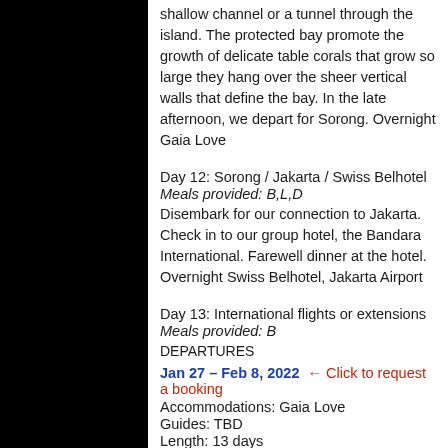shallow channel or a tunnel through the island. The protected bay promote the growth of delicate table corals that grow so large they hang over the sheer vertical walls that define the bay. In the late afternoon, we depart for Sorong. Overnight Gaia Love
Day 12: Sorong / Jakarta / Swiss Belhotel
Meals provided: B,L,D
Disembark for our connection to Jakarta. Check in to our group hotel, the Bandara International. Farewell dinner at the hotel. Overnight Swiss Belhotel, Jakarta Airport
Day 13: International flights or extensions
Meals provided: B
DEPARTURES
Jan 27 – Feb 8, 2022  ← Click to request a booking
Accommodations: Gaia Love
Guides: TBD
Length: 13 days